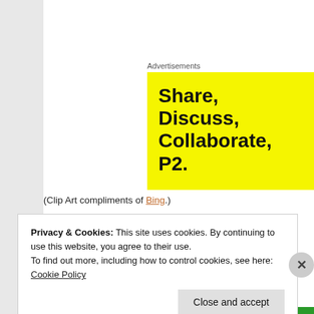Advertisements
[Figure (illustration): Yellow advertisement banner with bold black text reading 'Share, Discuss, Collaborate, P2.']
(Clip Art compliments of Bing.)
Privacy & Cookies: This site uses cookies. By continuing to use this website, you agree to their use.
To find out more, including how to control cookies, see here: Cookie Policy